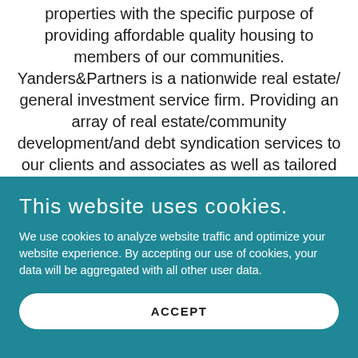properties with the specific purpose of providing affordable quality housing to members of our communities. Yanders&Partners is a nationwide real estate/ general investment service firm. Providing an array of real estate/community development/and debt syndication services to our clients and associates as well as tailored made
This website uses cookies.
We use cookies to analyze website traffic and optimize your website experience. By accepting our use of cookies, your data will be aggregated with all other user data.
ACCEPT